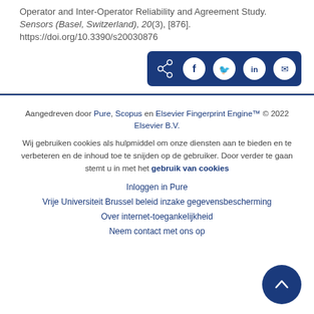Operator and Inter-Operator Reliability and Agreement Study. Sensors (Basel, Switzerland), 20(3), [876]. https://doi.org/10.3390/s20030876
[Figure (other): Social share button bar with share, Facebook, Twitter, LinkedIn, and email icons on dark blue background]
Aangedreven door Pure, Scopus en Elsevier Fingerprint Engine™ © 2022 Elsevier B.V.
Wij gebruiken cookies als hulpmiddel om onze diensten aan te bieden en te verbeteren en de inhoud toe te snijden op de gebruiker. Door verder te gaan stemt u in met het gebruik van cookies
Inloggen in Pure
Vrije Universiteit Brussel beleid inzake gegevensbescherming
Over internet-toegankelijkheid
Neem contact met ons op